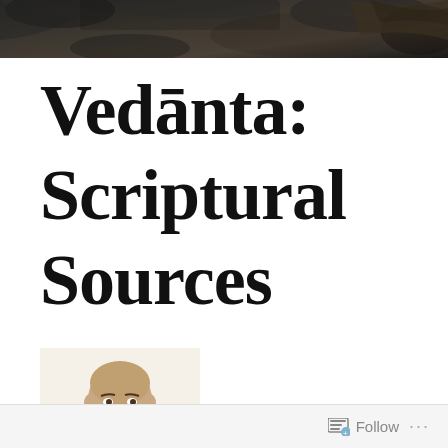[Figure (photo): Dark textured background header image with leaf and stone-like textures]
Vedānta: Scriptural Sources
[Figure (photo): Small portrait photo of a bald man with a goatee wearing a red shirt]
Follow ...